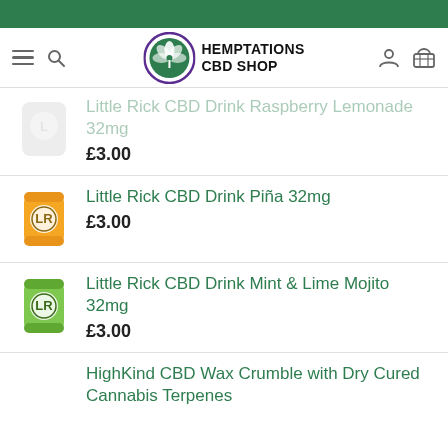Hemptations CBD Shop
[Figure (screenshot): Navigation bar with hamburger menu, search icon, Hemptations CBD Shop logo (cannabis leaf in circle), user icon, and basket icon]
Little Rick CBD Drink Raspberry Lemonade 32mg — £3.00
Little Rick CBD Drink Piña 32mg — £3.00
Little Rick CBD Drink Mint & Lime Mojito 32mg — £3.00
HighKind CBD Wax Crumble with Dry Cured Cannabis Terpenes